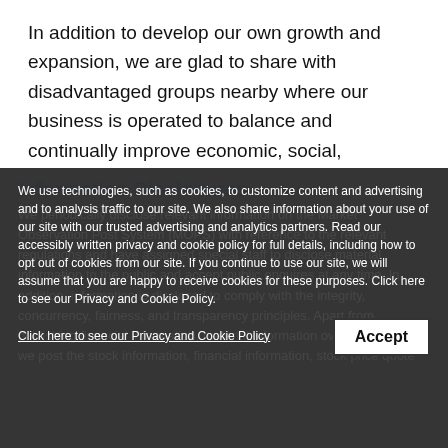In addition to develop our own growth and expansion, we are glad to share with disadvantaged groups nearby where our business is operated to balance and continually improve economic, social, environmental performances.
Information Disclosures
We periodically disclose relevant information on the Market Observation Post System (MOPS) with reference to the relevant regulations and have assigned special staff to disclose material information to the public and accept public enquires at any time. In addition, information is disclosed to comply with the integrity, concurrency, fairness, and transparency principles. Apart from publishing financial information, material information over the MOPS, we post the stock information, financial information, stock price quote
We use technologies, such as cookies, to customize content and advertising and to analysis traffic to our site. We also share information about your use of our site with our trusted advertising and analytics partners. Read our accessibly written privacy and cookie policy for full details, including how to opt out of cookies from our site. If you continue to use our site, we will assume that you are happy to receive cookies for these purposes. Click here to see our Privacy and Cookie Policy.
Click here to see our Privacy and Cookie Policy
Accept